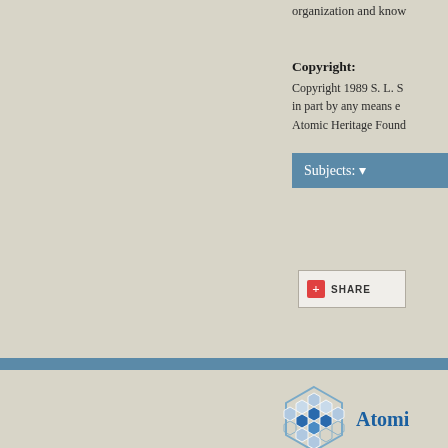organization and know
Copyright:
Copyright 1989 S. L. S... in part by any means e... Atomic Heritage Found...
Subjects: ▼
[Figure (screenshot): Share button with red plus icon and SHARE text]
[Figure (logo): Atomic Heritage Foundation logo with hexagonal honeycomb icon and text 'Atomi']